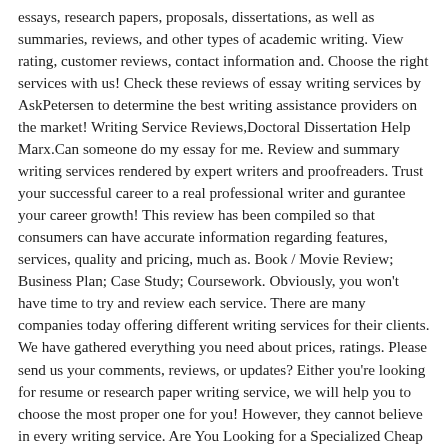essays, research papers, proposals, dissertations, as well as summaries, reviews, and other types of academic writing. View rating, customer reviews, contact information and. Choose the right services with us! Check these reviews of essay writing services by AskPetersen to determine the best writing assistance providers on the market! Writing Service Reviews,Doctoral Dissertation Help Marx.Can someone do my essay for me. Review and summary writing services rendered by expert writers and proofreaders. Trust your successful career to a real professional writer and gurantee your career growth! This review has been compiled so that consumers can have accurate information regarding features, services, quality and pricing, much as. Book / Movie Review; Business Plan; Case Study; Coursework. Obviously, you won't have time to try and review each service. There are many companies today offering different writing services for their clients. We have gathered everything you need about prices, ratings. Please send us your comments, reviews, or updates? Either you're looking for resume or research paper writing service, we will help you to choose the most proper one for you! However, they cannot believe in every writing service. Are You Looking for a Specialized Cheap Book Review Writing Services? Choose the feature you're looking for - learn which service presents outstanding writing results! Online writing services review - Proofreading and editing help from best writers. Seriously, I would recomend them and Monster was the service I'd